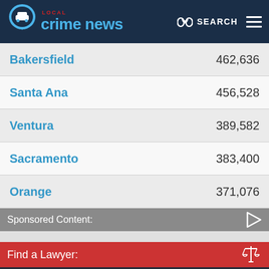Local Crime News
Bakersfield	462,636
Santa Ana	456,528
Ventura	389,582
Sacramento	383,400
Orange	371,076
Sponsored Content:
Find a Lawyer:
[Figure (photo): Person with hands behind back in handcuffs, wearing dark clothing]